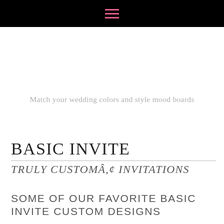☰ (hamburger menu icon)
Match your wedding colors and style mood boards
BASIC INVITE
TRULY CUSTOMÃ‚¸ INVITATIONS
SOME OF OUR FAVORITE BASIC INVITE CUSTOM DESIGNS
We love that Basic Invite allows you to truly match